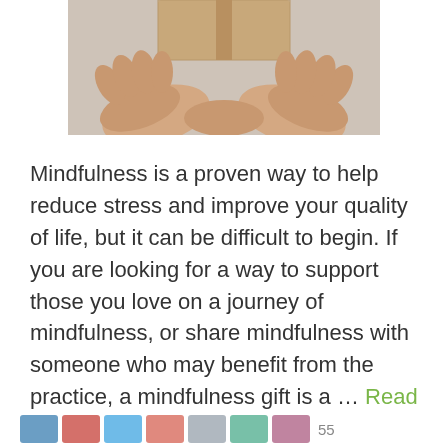[Figure (photo): Hands holding a brown gift box, viewed from below, against a light warm-toned background]
Mindfulness is a proven way to help reduce stress and improve your quality of life, but it can be difficult to begin. If you are looking for a way to support those you love on a journey of mindfulness, or share mindfulness with someone who may benefit from the practice, a mindfulness gift is a … Read more